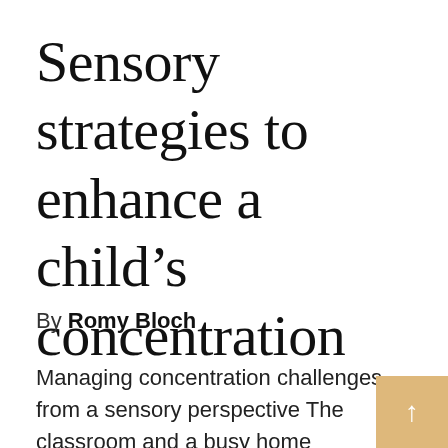Sensory strategies to enhance a child’s concentration
By Romy Bloch
Managing concentration challenges from a sensory perspective The classroom and a busy home environment can be an overwhelming place for any child, but particularly those